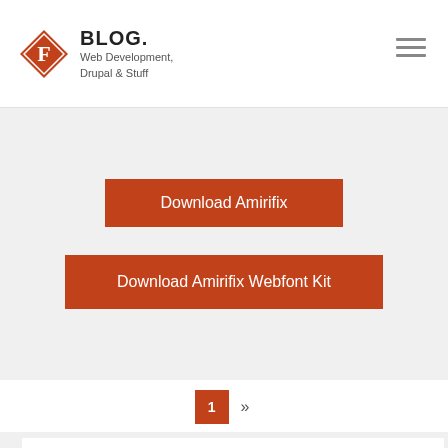BLOG. Web Development, Drupal & Stuff
Download Amirifix
Download Amirifix Webfont Kit
1 »
Neueste Beiträge